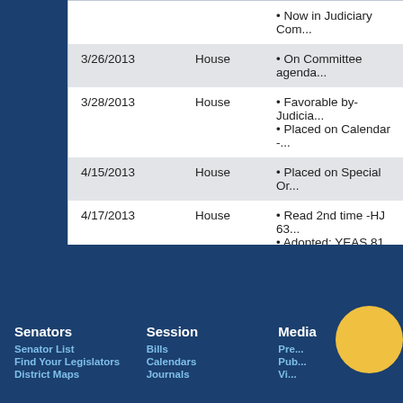| Date | Chamber | Action |
| --- | --- | --- |
|  |  | • Now in Judiciary Com... |
| 3/26/2013 | House | • On Committee agenda... |
| 3/28/2013 | House | • Favorable by- Judicia...
• Placed on Calendar -... |
| 4/15/2013 | House | • Placed on Special Or... |
| 4/17/2013 | House | • Read 2nd time -HJ 63...
• Adopted; YEAS 81 NA... |
| 4/18/2013 | Senate | • In Messages |
| 5/3/2013 | Senate | • Died in Messages |
Senators
Senator List
Find Your Legislators
District Maps
Session
Bills
Calendars
Journals
Media
Pre...
Pub...
Vi...